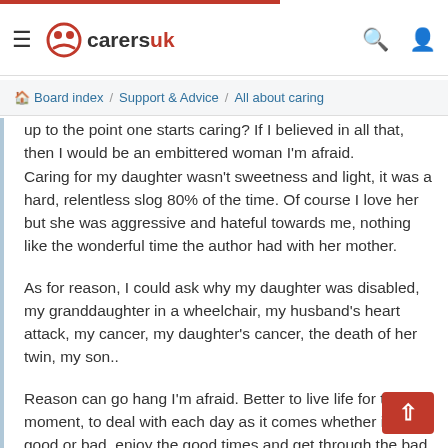≡  carersuk  🔍  👤
Board index / Support & Advice / All about caring
up to the point one starts caring? If I believed in all that, then I would be an embittered woman I'm afraid.
Caring for my daughter wasn't sweetness and light, it was a hard, relentless slog 80% of the time. Of course I love her but she was aggressive and hateful towards me, nothing like the wonderful time the author had with her mother.
As for reason, I could ask why my daughter was disabled, my granddaughter in a wheelchair, my husband's heart attack, my cancer, my daughter's cancer, the death of her twin, my son..
Reason can go hang I'm afraid. Better to live life for the moment, to deal with each day as it comes whether it's good or bad, enjoy the good times and get through the bad.
I don't believe in a divine spirit and guardian angels but I believe in the power of the human spirit with all it's faults and foibles, that's what get's me through.